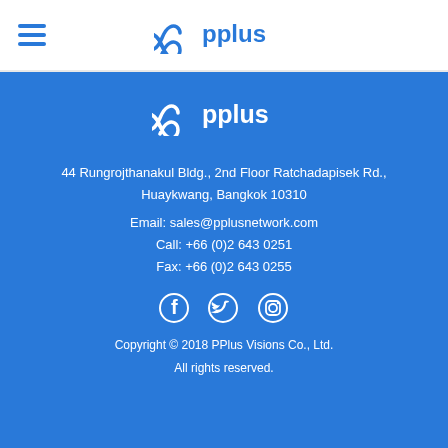oo pplus (logo in header)
[Figure (logo): pplus logo with infinity symbol in blue on white background]
[Figure (logo): pplus logo with infinity symbol in white on blue background]
44 Rungrojthanakul Bldg., 2nd Floor Ratchadapisek Rd.,
Huaykwang, Bangkok 10310
Email: sales@pplusnetwork.com
Call: +66 (0)2 643 0251
Fax: +66 (0)2 643 0255
[Figure (illustration): Social media icons: Facebook, Twitter, Instagram in white]
Copyright © 2018 PPlus Visions Co., Ltd.
All rights reserved.